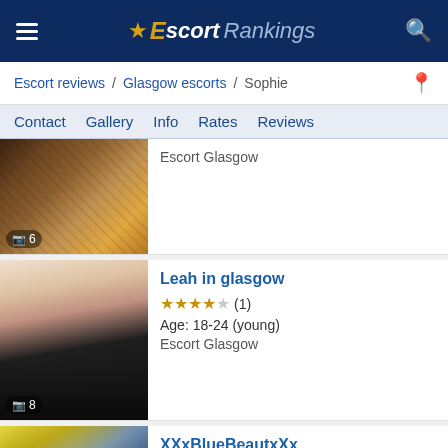Escort Rankings
Escort reviews / Glasgow escorts / Sophie
Contact Gallery Info Rates Reviews
[Figure (photo): Partial thumbnail of first escort listing with photo count badge showing 6]
Escort Glasgow
[Figure (photo): Photo of Leah in glasgow, woman in black dress and stockings, photo count badge showing 8]
Leah in glasgow
★★★★☆ (1)
Age: 18-24 (young)
Escort Glasgow
[Figure (photo): Photo of XXxBlueBeautxXx, woman with blue hair, partially visible]
XXxBlueBeautxXx
★★★★☆ (1)
Age: 18-24 (young)
Escort Glasgow